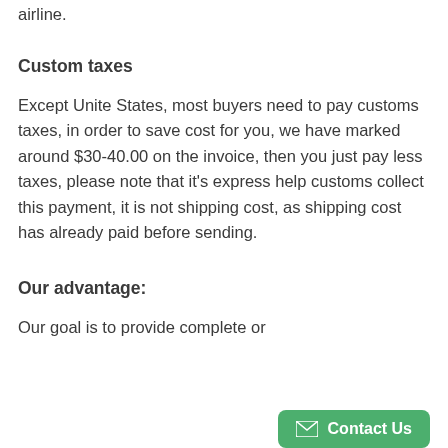airline.
Custom taxes
Except Unite States, most buyers need to pay customs taxes, in order to save cost for you, we have marked around $30-40.00 on the invoice, then you just pay less taxes, please note that it's express help customs collect this payment, it is not shipping cost, as shipping cost has already paid before sending.
Our advantage:
Our goal is to provide complete or